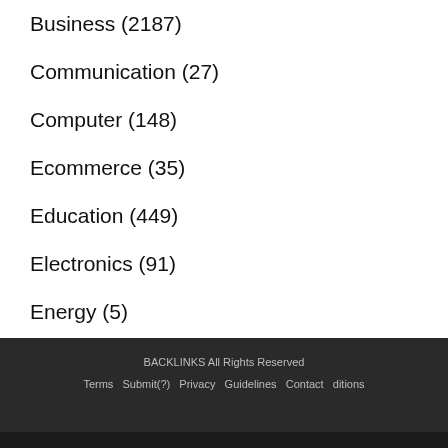Business (2187)
Communication (27)
Computer (148)
Ecommerce (35)
Education (449)
Electronics (91)
Energy (5)
Entertainment (50)
This website uses cookies to ensure you get the best experience on our website.
Learn more
Got it!
BACKLINKS All Rights Reserved
Terms   Submit(?)   Privacy   Guidelines   Contact   ditions